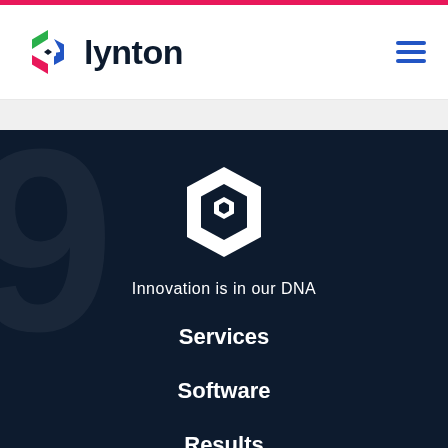[Figure (logo): Lynton logo with colorful hexagon icon and dark bold 'lynton' wordmark]
[Figure (illustration): Three horizontal lines hamburger menu icon in blue]
[Figure (logo): White Lynton hexagon icon logo centered on dark navy background]
Innovation is in our DNA
Services
Software
Results
Resources